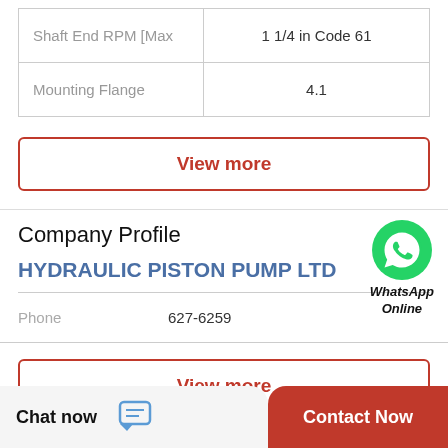| Property | Value |
| --- | --- |
| Shaft End RPM [Max | 1 1/4 in Code 61 |
| Mounting Flange | 4.1 |
View more
Company Profile
[Figure (illustration): WhatsApp green phone icon with WhatsApp Online label]
HYDRAULIC PISTON PUMP LTD
Phone 627-6259
View more
Chat now
Contact Now